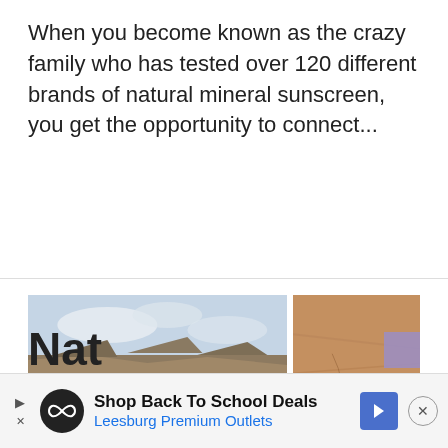When you become known as the crazy family who has tested over 120 different brands of natural mineral sunscreen, you get the opportunity to connect...
[Figure (photo): Two outdoor/hiking photos side by side. Left: A woman in a pink long-sleeve shirt and sunglasses posing on red rocks at what appears to be the Grand Canyon, with canyon vistas behind her. Right: A man in dark clothing sitting on red rock surface.]
Nat
Shop Back To School Deals
Leesburg Premium Outlets